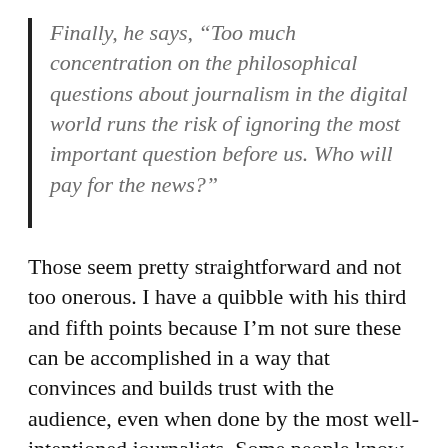Finally, he says, “Too much concentration on the philosophical questions about journalism in the digital world runs the risk of ignoring the most important question before us. Who will pay for the news?”
Those seem pretty straightforward and not too onerous. I have a quibble with his third and fifth points because I’m not sure these can be accomplished in a way that convinces and builds trust with the audience, even when done by the most well-intentioned journalists. Some people know the difference between opinion and fact, and for them labels are meaningless. Other people don’t know the difference